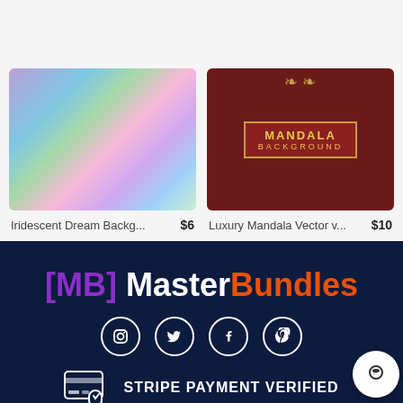[Figure (screenshot): Product card: Iridescent Dream Background with holographic colorful swirl image, priced at $6]
Iridescent Dream Backg... $6
[Figure (screenshot): Product card: Luxury Mandala Vector background with dark red mandala design, priced at $10]
Luxury Mandala Vector v... $10
[Figure (logo): MasterBundles logo with [MB] in purple and MasterBundles in white and orange text on dark navy background]
[Figure (infographic): Social media icons row: Instagram, Twitter, Facebook, Pinterest - white circle outlines on dark navy]
STRIPE PAYMENT VERIFIED